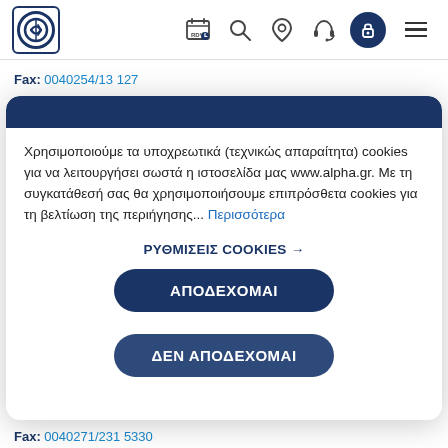Alpha Bank navigation bar with logo, RDV, search, location, support, lock and menu icons
Fax: 0040254/13 127
FEERIA ALPHA POINT
Χρησιμοποιούμε τα υποχρεωτικά (τεχνικώς απαραίτητα) cookies για να λειτουργήσει σωστά η ιστοσελίδα μας www.alpha.gr. Με τη συγκατάθεσή σας θα χρησιμοποιήσουμε επιπρόσθετα cookies για τη βελτίωση της περιήγησης... Περισσότερα
ΡΥΘΜΙΣΕΙΣ COOKIES →
ΑΠΟΔΕΧΟΜΑΙ
ΔΕΝ ΑΠΟΔΕΧΟΜΑΙ
Fax: 0040271/231 5330